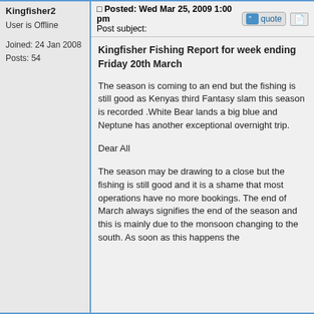Kingfisher2
User is Offline
Joined: 24 Jan 2008
Posts: 54
Posted: Wed Mar 25, 2009 1:00 pm
Post subject:
Kingfisher Fishing Report for week ending Friday 20th March
The season is coming to an end but the fishing is still good as Kenyas third Fantasy slam this season is recorded .White Bear lands a big blue and Neptune has another exceptional overnight trip.
Dear All
The season may be drawing to a close but the fishing is still good and it is a shame that most operations have no more bookings. The end of March always signifies the end of the season and this is mainly due to the monsoon changing to the south. As soon as this happens the